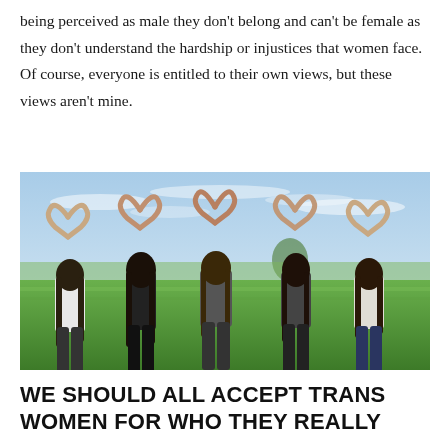being perceived as male they don't belong and can't be female as they don't understand the hardship or injustices that women face. Of course, everyone is entitled to their own views, but these views aren't mine.
[Figure (photo): Four women standing in a green field with their backs to the camera, each making a heart shape with their hands raised above their heads. Sky with light clouds visible in the background.]
WE SHOULD ALL ACCEPT TRANS WOMEN FOR WHO THEY REALLY